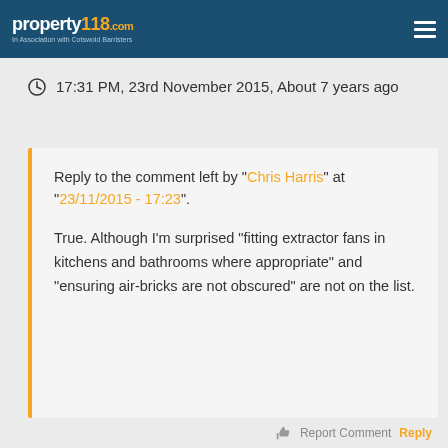property118.com — In Association with Cotswold Barristers
17:31 PM, 23rd November 2015, About 7 years ago
Reply to the comment left by "Chris Harris" at "23/11/2015 - 17:23". True. Although I'm surprised "fitting extractor fans in kitchens and bathrooms where appropriate" and "ensuring air-bricks are not obscured" are not on the list.
Report Comment Reply